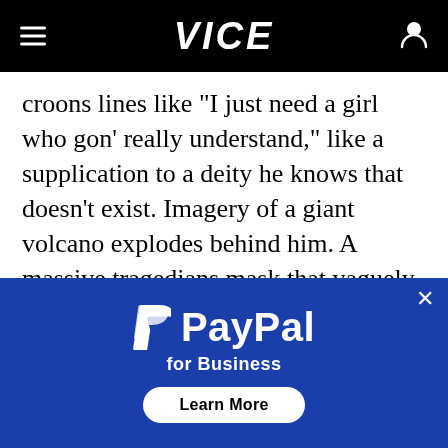VICE
croons lines like “I just need a girl who gon’ really understand,” like a supplication to a deity he knows that doesn’t exist. Imagery of a giant volcano explodes behind him. A massive tragedians mask that vaguely resembles his own face idles behind him on-stage. It looks like it was just excavated from the arid wastelands that sprawl in every direction as soon as you leave this lucrative oasis. The Weeknd’s
[Figure (infographic): PayPal for Business advertisement overlay with PayPal logo, tagline 'for Business', and 'Learn More' button on blue background]